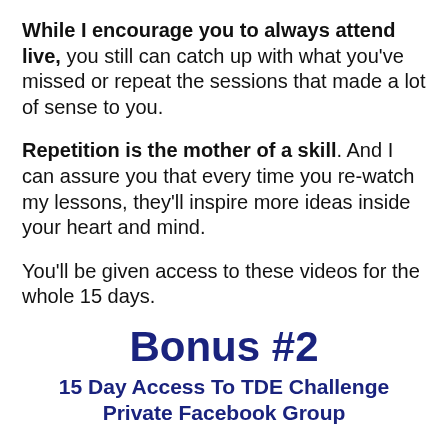While I encourage you to always attend live, you still can catch up with what you've missed or repeat the sessions that made a lot of sense to you.
Repetition is the mother of a skill. And I can assure you that every time you re-watch my lessons, they'll inspire more ideas inside your heart and mind.
You'll be given access to these videos for the whole 15 days.
Bonus #2
15 Day Access To TDE Challenge Private Facebook Group